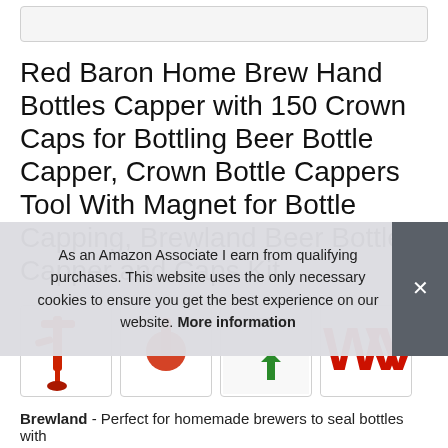[Figure (screenshot): Partial top image strip, cut off at top of page]
Red Baron Home Brew Hand Bottles Capper with 150 Crown Caps for Bottling Beer Bottle Capper, Crown Bottle Cappers Tool With Magnet for Bottle Capping, Brewland Beer Bottle Capper and Caps Kit
[Figure (photo): Row of four product thumbnail images showing the bottle capper from different angles]
As an Amazon Associate I earn from qualifying purchases. This website uses the only necessary cookies to ensure you get the best experience on our website. More information
Brewland - Perfect for homemade brewers to seal bottles with